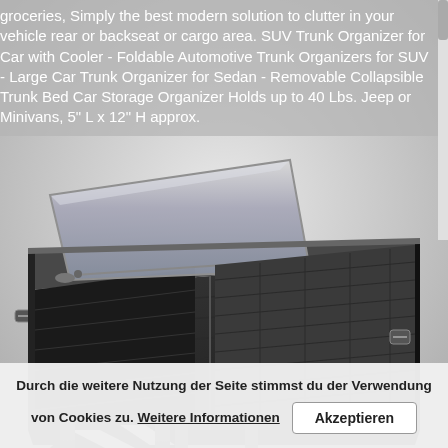[Figure (photo): A black SUV trunk organizer with cooler compartment, shown open with a silver insulated lid lifted, multiple compartments, handles with white chevron stripes, photographed on a white background.]
groceries, Simply the best modern solution to clutter in your vehicle rear or backseat or cargo area. SUV Trunk Organizer for Car with Cooler - Foldable Automotive Trunk Organizers for SUV - Large Car Trunk Organizer for Sedan - Removable Collapsible Trunk Bed Car Storage Organizer Holds up to 40 Lbs. Jeep or Minivans, 5" L x 12" H approx.
Durch die weitere Nutzung der Seite stimmst du der Verwendung von Cookies zu. Weitere Informationen    Akzeptieren